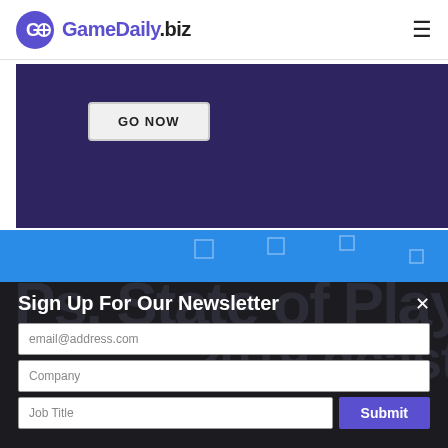GameDaily.biz
[Figure (screenshot): Dark purple banner with GO NOW button]
[Figure (screenshot): Blue decorative strip with geometric shapes]
Sign Up For Our Newsletter
email@address.com
Company
Job Title
Submit